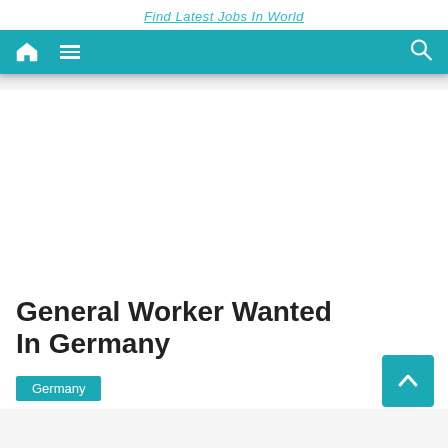Find Latest Jobs In World
[Figure (screenshot): Website navigation bar with teal background showing home icon, hamburger menu icon, and search icon on the right]
General Worker Wanted In Germany
Germany